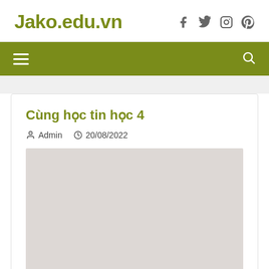Jako.edu.vn
Navigation menu
Cùng học tin học 4
Admin  20/08/2022
[Figure (photo): Placeholder image for article content]